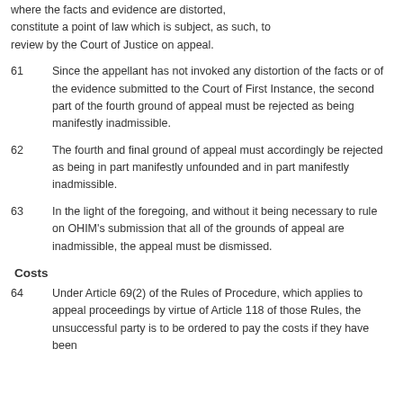where the facts and evidence are distorted, constitute a point of law which is subject, as such, to review by the Court of Justice on appeal.
61      Since the appellant has not invoked any distortion of the facts or of the evidence submitted to the Court of First Instance, the second part of the fourth ground of appeal must be rejected as being manifestly inadmissible.
62      The fourth and final ground of appeal must accordingly be rejected as being in part manifestly unfounded and in part manifestly inadmissible.
63      In the light of the foregoing, and without it being necessary to rule on OHIM's submission that all of the grounds of appeal are inadmissible, the appeal must be dismissed.
Costs
64      Under Article 69(2) of the Rules of Procedure, which applies to appeal proceedings by virtue of Article 118 of those Rules, the unsuccessful party is to be ordered to pay the costs if they have been